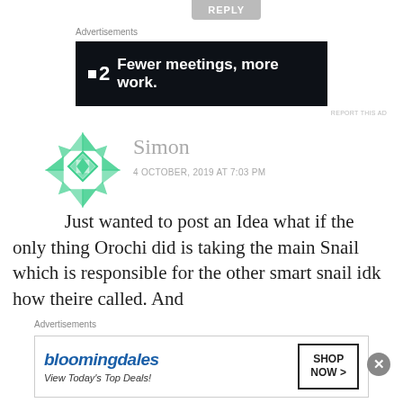[Figure (other): REPLY button at top]
Advertisements
[Figure (other): Advertisement banner: P2 - Fewer meetings, more work.]
REPORT THIS AD
[Figure (other): User avatar - green geometric pattern circle icon for user Simon]
Simon
4 OCTOBER, 2019 AT 7:03 PM
Just wanted to post an Idea what if the only thing Orochi did is taking the main Snail which is responsible for the other smart snail idk how theire called. And
Advertisements
[Figure (other): Advertisement banner: Bloomingdale's - View Today's Top Deals! SHOP NOW >]